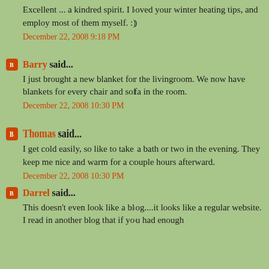Excellent ... a kindred spirit. I loved your winter heating tips, and employ most of them myself. :)
December 22, 2008 9:18 PM
Barry said...
I just brought a new blanket for the livingroom. We now have blankets for every chair and sofa in the room.
December 22, 2008 10:30 PM
Thomas said...
I get cold easily, so like to take a bath or two in the evening. They keep me nice and warm for a couple hours afterward.
December 22, 2008 10:30 PM
Darrel said...
This doesn't even look like a blog....it looks like a regular website. I read in another blog that if you had enough